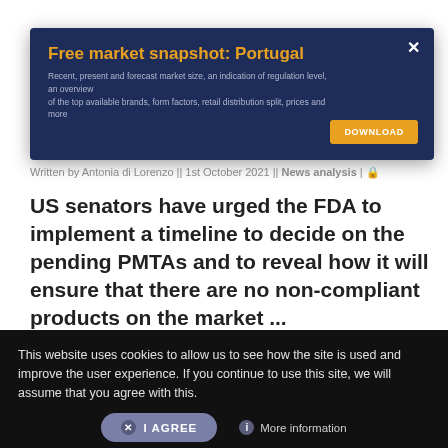[Figure (screenshot): Advertisement banner for a free market snapshot of Portugal on a dark navy background, with a gold title, descriptive subtitle text, a download button, and a close (x) button.]
Written by Antonia di Lorenzo || 1st October 2021 || News analysis |
US senators have urged the FDA to implement a timeline to decide on the pending PMTAs and to reveal how it will ensure that there are no non-compliant products on the market ...
This website uses cookies to allow us to see how the site is used and improve the user experience. If you continue to use this site, we will assume that you agree with this.